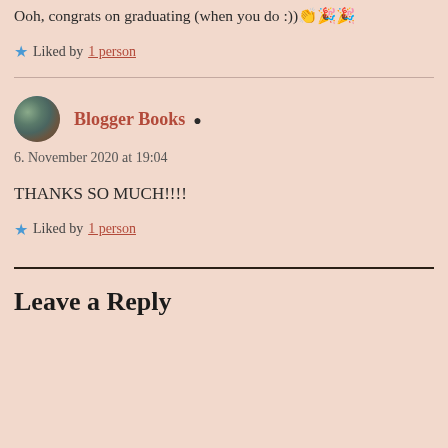Ooh, congrats on graduating (when you do :)) 👏🎉🎉
Liked by 1 person
Blogger Books • 6. November 2020 at 19:04
THANKS SO MUCH!!!!
Liked by 1 person
Leave a Reply